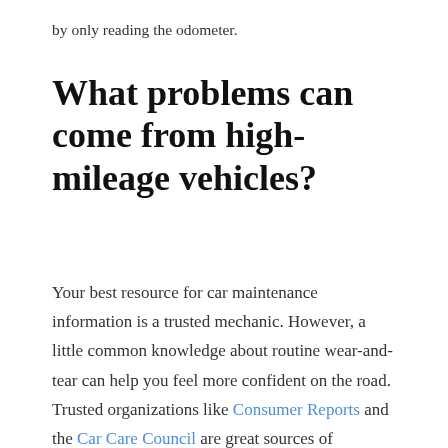by only reading the odometer.
What problems can come from high-mileage vehicles?
Your best resource for car maintenance information is a trusted mechanic. However, a little common knowledge about routine wear-and-tear can help you feel more confident on the road. Trusted organizations like Consumer Reports and the Car Care Council are great sources of information to help you make smart